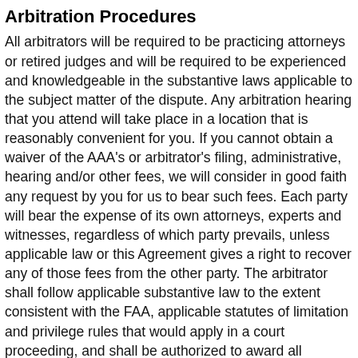Arbitration Procedures
All arbitrators will be required to be practicing attorneys or retired judges and will be required to be experienced and knowledgeable in the substantive laws applicable to the subject matter of the dispute. Any arbitration hearing that you attend will take place in a location that is reasonably convenient for you. If you cannot obtain a waiver of the AAA's or arbitrator's filing, administrative, hearing and/or other fees, we will consider in good faith any request by you for us to bear such fees. Each party will bear the expense of its own attorneys, experts and witnesses, regardless of which party prevails, unless applicable law or this Agreement gives a right to recover any of those fees from the other party. The arbitrator shall follow applicable substantive law to the extent consistent with the FAA, applicable statutes of limitation and privilege rules that would apply in a court proceeding, and shall be authorized to award all remedies available in an individual lawsuit under applicable substantive law, including, without limitation, compensatory, statutory and punitive damages (which shall be governed by the constitutional standards that apply in judicial proceedings),